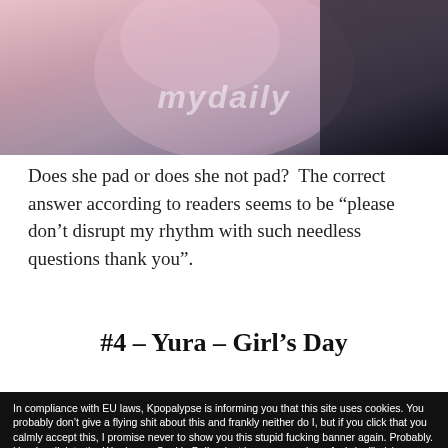[Figure (photo): Photo of a woman in a pink/lavender dress with 'mydaily' watermark overlay, dark background at right side]
Does she pad or does she not pad?  The correct answer according to readers seems to be “please don’t disrupt my rhythm with such needless questions thank you”.
#4 – Yura – Girl’s Day
In compliance with EU laws, Kpopalypse is informing you that this site uses cookies. You probably don’t give a flying shit about this and frankly neither do I, but if you click that you calmly accept this, I promise never to show you this stupid fucking banner again. Probably. Here’s a link to the Wordpress Cookie Policy, just in case you give a fuck (unlikely)